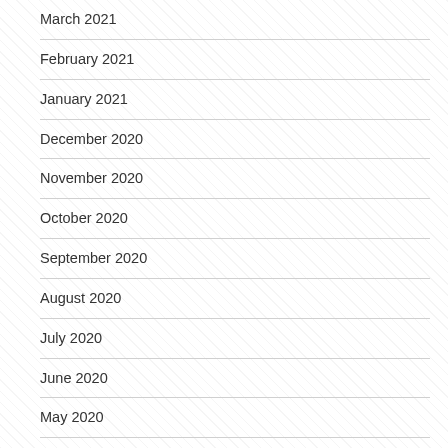March 2021
February 2021
January 2021
December 2020
November 2020
October 2020
September 2020
August 2020
July 2020
June 2020
May 2020
April 2020